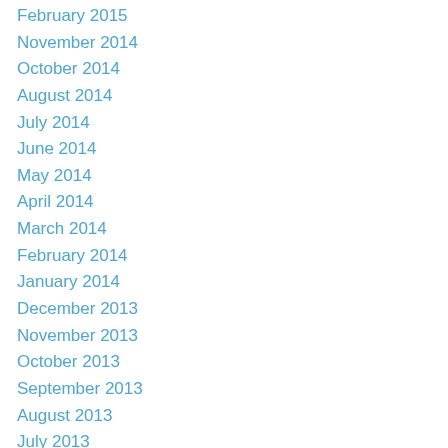February 2015
November 2014
October 2014
August 2014
July 2014
June 2014
May 2014
April 2014
March 2014
February 2014
January 2014
December 2013
November 2013
October 2013
September 2013
August 2013
July 2013
June 2013
April 2013
March 2013